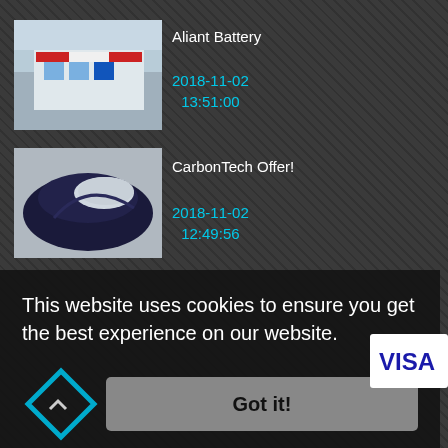[Figure (screenshot): Thumbnail photo of Aliant Battery building exterior]
Aliant Battery
2018-11-02
13:51:00
[Figure (photo): Thumbnail of dark-colored motorcycle fender/part - CarbonTech Offer]
CarbonTech Offer!
2018-11-02
12:49:56
This website uses cookies to ensure you get the best experience on our website.
Got it!
[Figure (logo): VISA logo in white box]